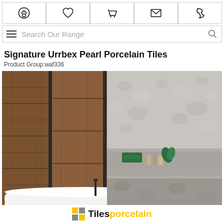Navigation icons: home, wishlist, basket, mail, phone
Search Our Range
Signature Urrbex Pearl Porcelain Tiles
Product Group:waf336
[Figure (photo): Bathroom scene showing wood-effect tiles on a partition wall beside a freestanding bathtub, with pearlescent grey/white textured tiles on the surrounding walls and a built-in shelf with green towels and toiletries]
Tilesporcelain